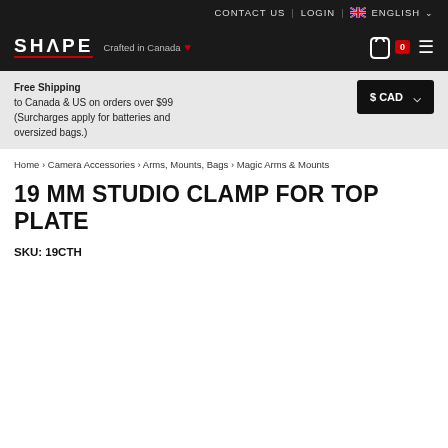CONTACT US | LOGIN | ENGLISH
[Figure (logo): SHAPE logo with 'Crafted in Canada' tagline, cart icon with 0 badge, and hamburger menu on dark background]
Free Shipping to Canada & US on orders over $99 (Surcharges apply for batteries and oversized bags.)
$ CAD
Home > Camera Accessories > Arms, Mounts, Bags > Magic Arms & Mounts
19 MM STUDIO CLAMP FOR TOP PLATE
SKU: 19CTH